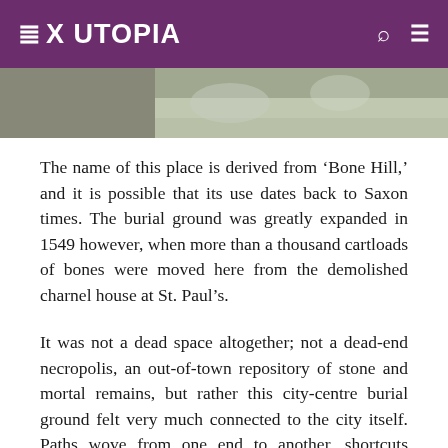EX UTOPIA
[Figure (photo): Partial view of a stone or rocky surface, likely a burial ground or archaeological site, cropped at the top of the page.]
The name of this place is derived from 'Bone Hill,' and it is possible that its use dates back to Saxon times. The burial ground was greatly expanded in 1549 however, when more than a thousand cartloads of bones were moved here from the demolished charnel house at St. Paul's.
It was not a dead space altogether; not a dead-end necropolis, an out-of-town repository of stone and mortal remains, but rather this city-centre burial ground felt very much connected to the city itself. Paths wove from one end to another, shortcuts connecting the surrounding streets, criss-crossing between the stones. Workers in suits and high heels, ambling tourists with backpacks, pedestrians passing